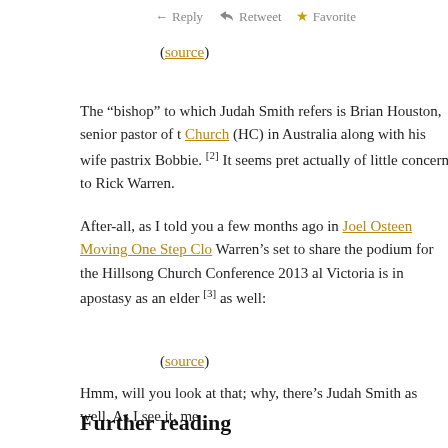[Figure (screenshot): Twitter action buttons: Reply, Retweet, Favorite]
(source)
The “bishop” to which Judah Smith refers is Brian Houston, senior pastor of t[he Hillsong] Church (HC) in Australia along with his wife pastrix Bobbie. [2] It seems pret[ty clear it’s] actually of little concern to Rick Warren.
After-all, as I told you a few months ago in Joel Osteen Moving One Step Clo[ser...] Warren’s set to share the podium for the Hillsong Church Conference 2013 a[nd...] Victoria is in apostasy as an elder [3] as well:
(source)
Hmm, will you look at that; why, there’s Judah Smith as well. As I see it, me[n...]
Further reading